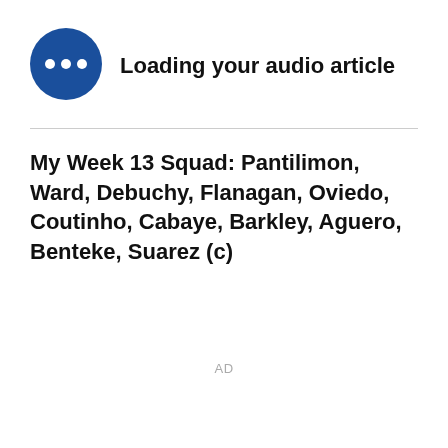[Figure (other): Blue circular audio loading icon with three white dots in the center, indicating an audio article is loading]
Loading your audio article
My Week 13 Squad: Pantilimon, Ward, Debuchy, Flanagan, Oviedo, Coutinho, Cabaye, Barkley, Aguero, Benteke, Suarez (c)
AD